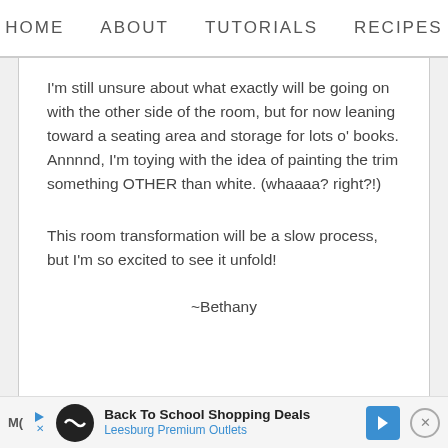HOME   ABOUT   TUTORIALS   RECIPES
I'm still unsure about what exactly will be going on with the other side of the room, but for now leaning toward a seating area and storage for lots o' books. Annnnd, I'm toying with the idea of painting the trim something OTHER than white. (whaaaa? right?!)
This room transformation will be a slow process, but I'm so excited to see it unfold!
~Bethany
Back To School Shopping Deals  Leesburg Premium Outlets